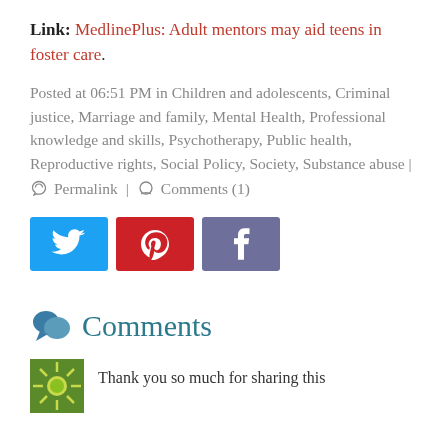Link: MedlinePlus: Adult mentors may aid teens in foster care.
Posted at 06:51 PM in Children and adolescents, Criminal justice, Marriage and family, Mental Health, Professional knowledge and skills, Psychotherapy, Public health, Reproductive rights, Social Policy, Society, Substance abuse | 🔗 Permalink | 💬 Comments (1)
[Figure (other): Social sharing buttons: Twitter (blue), Pinterest (red), Facebook (muted purple)]
Comments
Thank you so much for sharing this